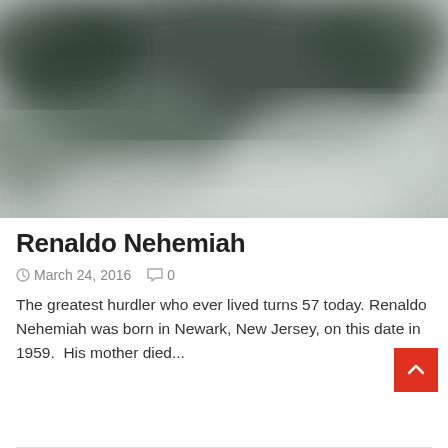[Figure (photo): Blurry dark greenish-grey blurred photograph, possibly of a person or outdoor scene, used as article header image]
Renaldo Nehemiah
March 24, 2016   0
The greatest hurdler who ever lived turns 57 today. Renaldo Nehemiah was born in Newark, New Jersey, on this date in 1959.  His mother died...